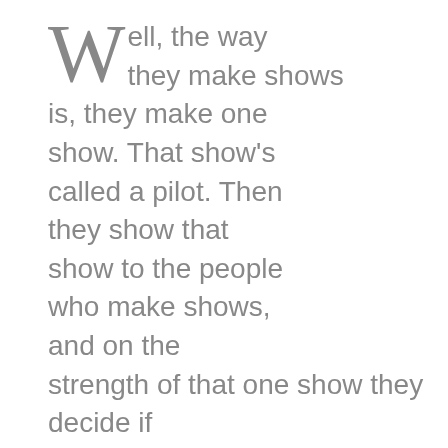Well, the way they make shows is, they make one show. That show's called a pilot. Then they show that show to the people who make shows, and on the strength of that one show they decide if they're going to make more shows. Some pilots get picked and become television programs. Some don't, become nothing. She starred in one of the ones that became